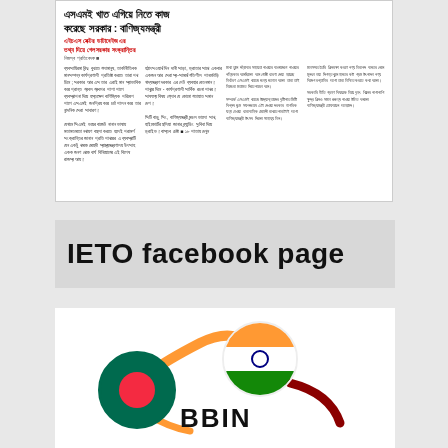[Figure (screenshot): Newspaper clipping in Bengali script showing headline about SME sector government policy, with multiple columns of Bengali text.]
IETO facebook page
[Figure (logo): BBIN logo showing circular flag icons for Bangladesh (green with red circle) and India (tricolor), connected by orange and dark red curved lines, with BBIN text in the center.]